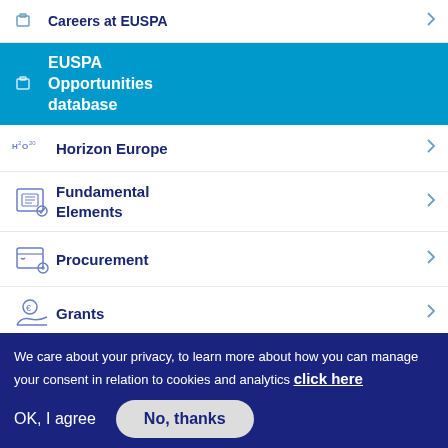Careers at EUSPA
EUSPA Opportunities database
Horizon Europe
Fundamental Elements
Procurement
Grants
We care about your privacy, to learn more about how you can manage your consent in relation to cookies and analytics click here
OK, I agree
No, thanks